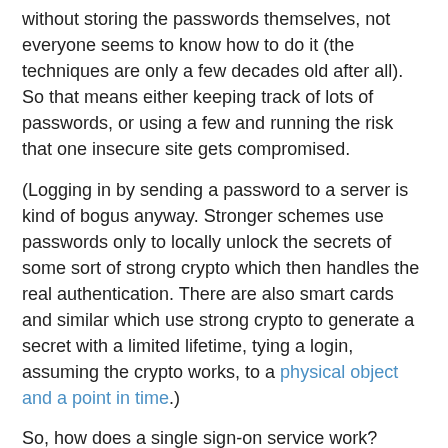without storing the passwords themselves, not everyone seems to know how to do it (the techniques are only a few decades old after all). So that means either keeping track of lots of passwords, or using a few and running the risk that one insecure site gets compromised.
(Logging in by sending a password to a server is kind of bogus anyway. Stronger schemes use passwords only to locally unlock the secrets of some sort of strong crypto which then handles the real authentication. There are also smart cards and similar which use strong crypto to generate a secret with a limited lifetime, tying a login, assuming the crypto works, to a physical object and a point in time.)
So, how does a single sign-on service work? Basically such a service depends on a way for some other system to vouch for you to the system that you're trying to log in to:
You log in once with a particular server
That server gives you (or your browser) a token (or cookie, or ticket, or whatever you like). That token effectively says "so-and-so was able to